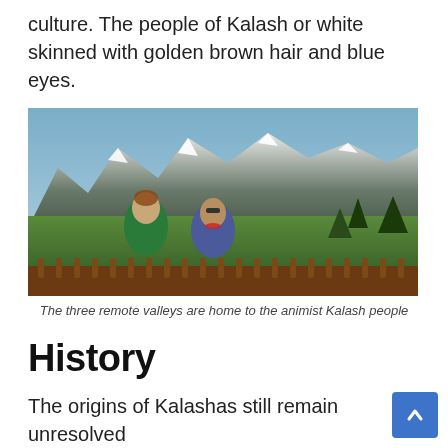culture. The people of Kalash or white skinned with golden brown hair and blue eyes.
[Figure (photo): Two women in traditional Kalash dress leaning on a wooden railing with snow-capped mountains and green trees in the background.]
The three remote valleys are home to the animist Kalash people
History
The origins of Kalashas still remain unresolved